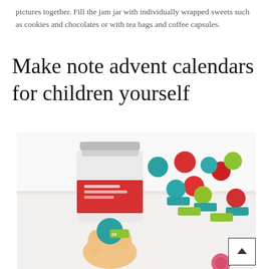pictures together. Fill the jam jar with individually wrapped sweets such as cookies and chocolates or with tea bags and coffee capsules.
Make note advent calendars for children yourself
[Figure (photo): Photo of colorful felt balls (red, teal, green) and small labeled tags spread on a white surface, with a decorative jar in the background and a hand holding a teal felt ball with a tag labeled '24' in the foreground.]